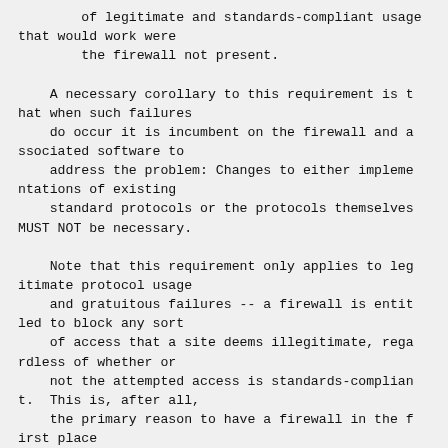of legitimate and standards-compliant usage that would work were
        the firewall not present.

    A necessary corollary to this requirement is that when such failures
    do occur it is incumbent on the firewall and associated software to
    address the problem: Changes to either implementations of existing
    standard protocols or the protocols themselves MUST NOT be necessary.

    Note that this requirement only applies to legitimate protocol usage
    and gratuitous failures -- a firewall is entitled to block any sort
    of access that a site deems illegitimate, regardless of whether or
    not the attempted access is standards-compliant.  This is, after all,
    the primary reason to have a firewall in the first place